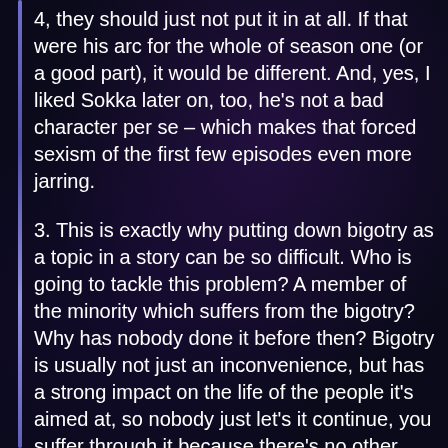4, they should just not put it in at all. If that were his arc for the whole of season one (or a good part), it would be different. And, yes, I liked Sokka later on, too, he's not a bad character per se – which makes that forced sexism of the first few episodes even more jarring.
3. This is exactly why putting down bigotry as a topic in a story can be so difficult. Who is going to tackle this problem? A member of the minority which suffers from the bigotry? Why has nobody done it before then? Bigotry is usually not just an inconvenience, but has a strong impact on the life of the people it's aimed at, so nobody just let's it continue, you suffer through it because there's no other choice. Is it someone from a more